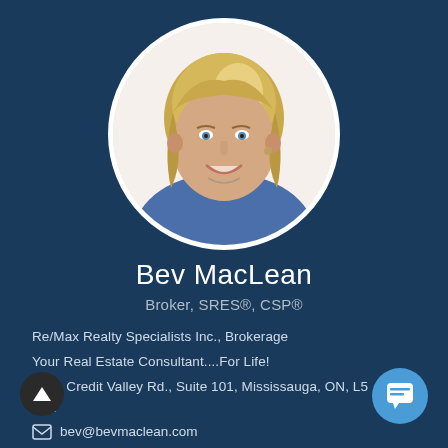[Figure (photo): Circular profile photo of Bev MacLean, a woman with blonde hair wearing a blue top, smiling, with white circular border]
Bev MacLean
Broker, SRES®, CSP®
Re/Max Realty Specialists Inc., Brokerage
Your Real Estate Consultant....For Life!
2691 Credit Valley Rd., Suite 101, Mississauga, ON, L5
7A1
bev@bevmaclean.com